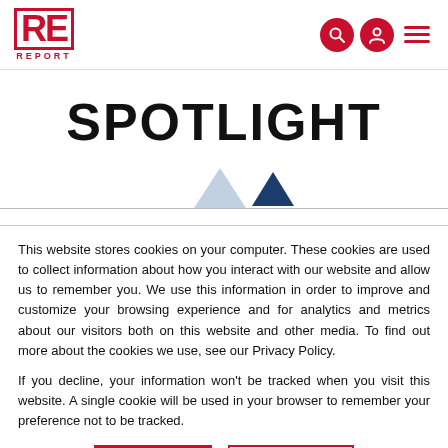RE REPORT logo and navigation icons
SPOTLIGHT
This website stores cookies on your computer. These cookies are used to collect information about how you interact with our website and allow us to remember you. We use this information in order to improve and customize your browsing experience and for analytics and metrics about our visitors both on this website and other media. To find out more about the cookies we use, see our Privacy Policy.
If you decline, your information won't be tracked when you visit this website. A single cookie will be used in your browser to remember your preference not to be tracked.
Accept   Decline